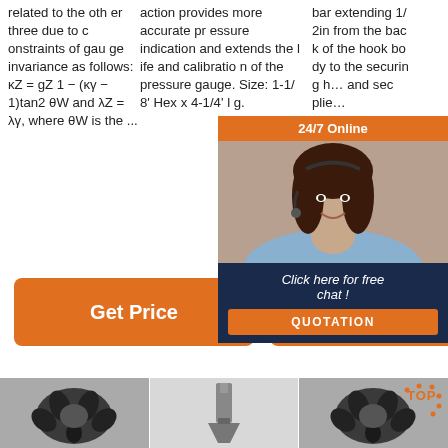related to the other three due to constraints of gauge invariance as follows: κZ = gZ1 − (κγ − 1)tan2θW and λZ = λγ, where θW is the ...
action provides more accurate pressure indication and extends the life and calibration of the pressure gauge. Size: 1-1/8' Hex x 4-1/4' lg.
bar extending 1/2in from the back of the hook body to the securing hole and sec plie...
[Figure (photo): Customer service representative with headset, 24/7 Online chat overlay with quotation button]
Get Price (button 1)
Get Price (button 2)
G... Get Price (button 3, partially hidden)
[Figure (photo): Black drill bit / rotary tool attachment, claw-shaped]
[Figure (photo): Gray chisel / spade tool bit]
[Figure (photo): Black drill bit rotary tool attachment with TOP watermark]